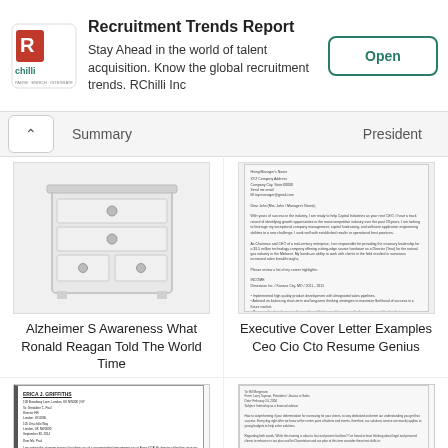[Figure (screenshot): RChilli advertisement banner with logo, text 'Recruitment Trends Report - Stay Ahead in the world of talent acquisition. Know the global recruitment trends. RChilli Inc' and an Open button]
Summary | President
[Figure (illustration): Thumbnail image of a white dresser/chest of drawers]
Alzheimer S Awareness What Ronald Reagan Told The World Time
[Figure (screenshot): Thumbnail of an executive cover letter document]
Executive Cover Letter Examples Ceo Cio Cto Resume Genius
[Figure (screenshot): Thumbnail of a formal letter with bold header name, left border accent]
[Figure (screenshot): Thumbnail of a letter document with small text]